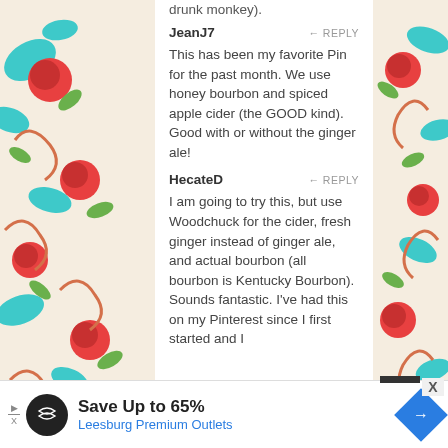drunk monkey).
JeanJ7
REPLY
This has been my favorite Pin for the past month.  We use honey bourbon and spiced apple cider (the GOOD kind).  Good with or without the ginger ale!
HecateD
REPLY
I am going to try this, but use Woodchuck for the cider, fresh ginger instead of ginger ale, and actual bourbon (all bourbon is Kentucky Bourbon).  Sounds fantastic.  I've had this on my Pinterest since I first started and I
umpkin so much
REPLY
ky bourbon" isn't
e called BOURBON
Save Up to 65%
Leesburg Premium Outlets